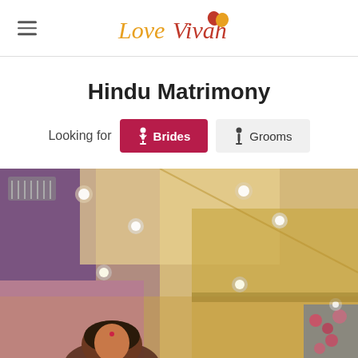LoveVivah
Hindu Matrimony
Looking for  Brides  Grooms
[Figure (photo): Interior of a banquet or wedding hall with purple and warm lighting on the ceiling, recessed spotlights, and a woman visible in the lower portion of the image]